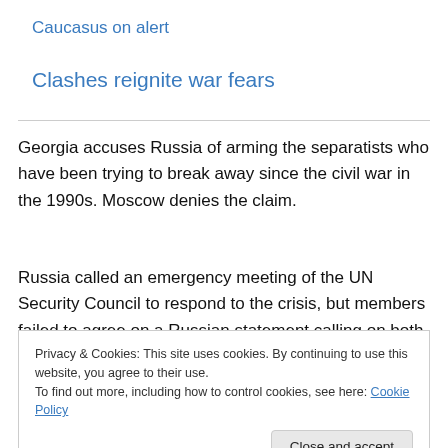Caucasus on alert
Clashes reignite war fears
Georgia accuses Russia of arming the separatists who have been trying to break away since the civil war in the 1990s. Moscow denies the claim.
Russia called an emergency meeting of the UN Security Council to respond to the crisis, but members failed to agree on a Russian statement calling on both sides to
Privacy & Cookies: This site uses cookies. By continuing to use this website, you agree to their use.
To find out more, including how to control cookies, see here: Cookie Policy
Close and accept